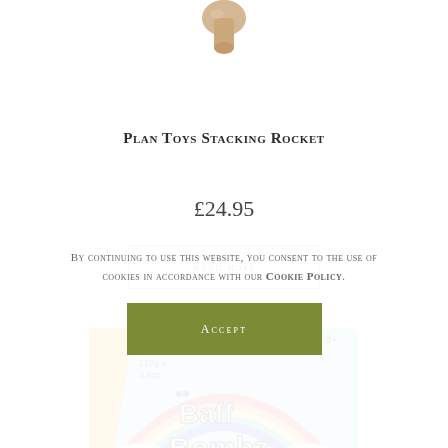[Figure (photo): Partial view of a wooden toy (Plan Toys Stacking Rocket) — only the top wooden rounded piece is visible at the top of the page]
Plan Toys Stacking Rocket
£24.95
Read more
[Figure (photo): Zimpli Kids Baff Bombz product package showing a rainbow and bath bomb product, 110g / 3.8oz, age 3+]
By continuing to use this website, you consent to the use of cookies in accordance with our Cookie Policy.
Accept